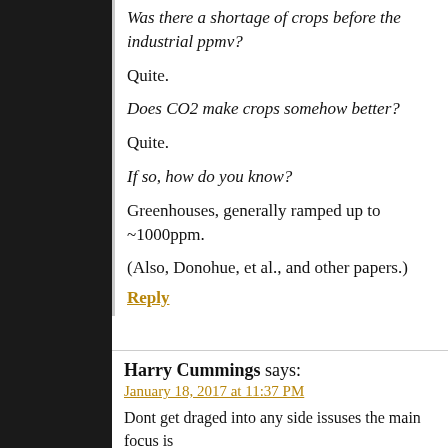Was there a shortage of crops before the industrial ppmv?
Quite.
Does CO2 make crops somehow better?
Quite.
If so, how do you know?
Greenhouses, generally ramped up to ~1000ppm.
(Also, Donohue, et al., and other papers.)
Reply
Harry Cummings says:
January 18, 2017 at 11:37 PM
Dont get draged into any side issuses the main focus is